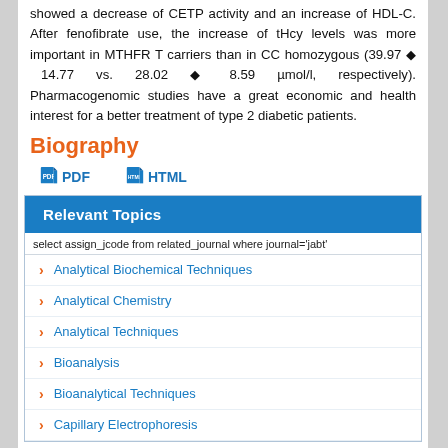showed a decrease of CETP activity and an increase of HDL-C. After fenofibrate use, the increase of tHcy levels was more important in MTHFR T carriers than in CC homozygous (39.97 ◆ 14.77 vs. 28.02 ◆ 8.59 µmol/l, respectively). Pharmacogenomic studies have a great economic and health interest for a better treatment of type 2 diabetic patients.
Biography
PDF   HTML
| Relevant Topics |
| select assign_jcode from related_journal where journal='jabt' |
| Analytical Biochemical Techniques |
| Analytical Chemistry |
| Analytical Techniques |
| Bioanalysis |
| Bioanalytical Techniques |
| Capillary Electrophoresis |